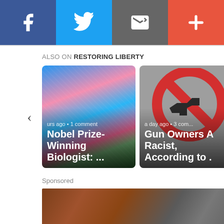[Figure (screenshot): Social sharing button bar with Facebook (blue), Twitter (light blue), email/newsletter (dark gray), and more/plus (red-orange) buttons]
ALSO ON RESTORING LIBERTY
[Figure (screenshot): Article card showing trans pride flags photo with text 'urs ago • 1 comment' and title 'Nobel Prize-Winning Biologist: ...']
[Figure (screenshot): Article card showing no-guns sign photo with text 'a day ago • 3 com' and title 'Gun Owners A Racist, According to .']
Sponsored
[Figure (photo): Sponsored content image showing a person in a brown/rust textured jacket and dark patterned jacket]